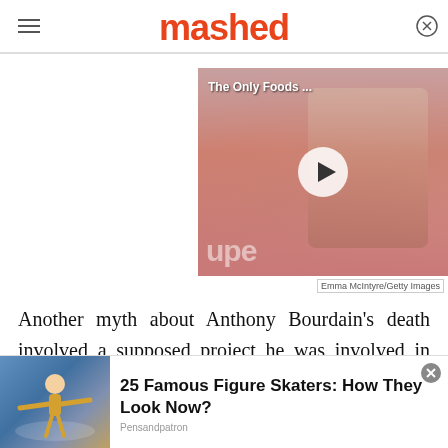mashed
[Figure (screenshot): Video thumbnail showing a man with gray hair against a pink background, with play button overlay. Text reads 'The Only Foods ...' Logo 'upe' visible at bottom left.]
Emma McIntyre/Getty Images
Another myth about Anthony Bourdain's death involved a supposed project he was involved in prior to his suicide. In the summer of 2020, social media posts surfaced claiming Bourdain had
[Figure (photo): Advertisement banner showing a figure skater with arms outstretched against a blue and gold background.]
25 Famous Figure Skaters: How They Look Now?
Pensandpatron